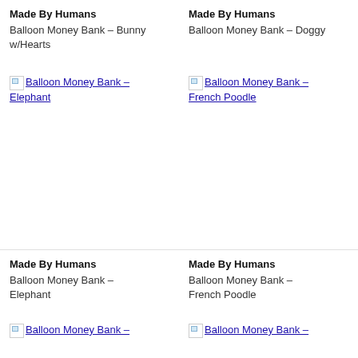Made By Humans
Made By Humans
Balloon Money Bank – Bunny w/Hearts
Balloon Money Bank – Doggy
[Figure (photo): Broken image thumbnail link: Balloon Money Bank – Elephant]
[Figure (photo): Broken image thumbnail link: Balloon Money Bank – French Poodle]
Made By Humans
Made By Humans
Balloon Money Bank – Elephant
Balloon Money Bank – French Poodle
[Figure (photo): Broken image thumbnail link: Balloon Money Bank –]
[Figure (photo): Broken image thumbnail link: Balloon Money Bank –]